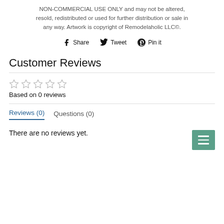NON-COMMERCIAL USE ONLY and may not be altered, resold, redistributed or used for further distribution or sale in any way. Artwork is copyright of Remodelaholic LLC©.
[Figure (other): Social sharing buttons: Facebook Share, Twitter Tweet, Pinterest Pin it]
Customer Reviews
[Figure (other): Five empty/unrated stars rating display]
Based on 0 reviews
[Figure (other): Green hamburger menu button with three white lines]
Reviews (0)    Questions (0)
There are no reviews yet.